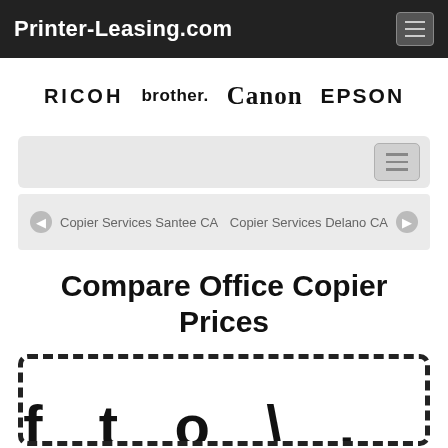Printer-Leasing.com
[Figure (logo): Brand logos: RICOH, brother, Canon, EPSON displayed in a row]
[Figure (screenshot): Navigation/search bar with hamburger menu button]
Copier Services Santee CA
Copier Services Delano CA
Compare Office Copier Prices
[Figure (illustration): Partially visible coupon or decorative graphic with dashed border at the bottom of the page]